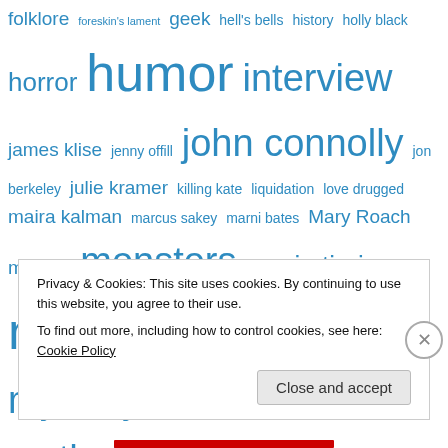folklore foreskin's lament geek hell's bells history holly black horror humor interview james klise jenny offill john connolly jon berkeley julie kramer killing kate liquidation love drugged maira kalman marcus sakey marni bates Mary Roach memoir monsters movie tie-in must read mystery/thriller mythology nancy carpenter non-fiction old mother west wind photography politics science fiction shalom auslander snails something borrowed Stiff television journalist the beejum book the book of lost things the gates the palace of laughter the two deaths of daniel hayes the wednesday tales thornton w. burgess too loud a solitude tv show young adult zombies
Privacy & Cookies: This site uses cookies. By continuing to use this website, you agree to their use.
To find out more, including how to control cookies, see here: Cookie Policy
Close and accept